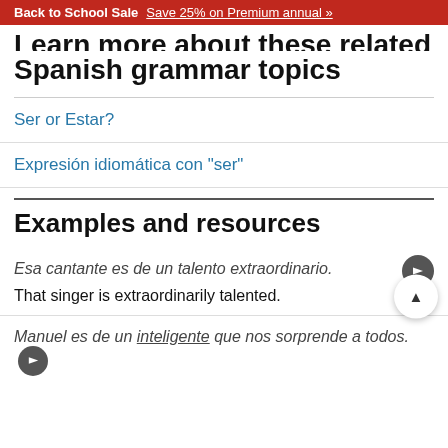Back to School Sale  Save 25% on Premium annual »
Learn more about these related Spanish grammar topics
Ser or Estar?
Expresión idiomática con "ser"
Examples and resources
Esa cantante es de un talento extraordinario.  That singer is extraordinarily talented.
Manuel es de un inteligente que nos sorprende a todos.